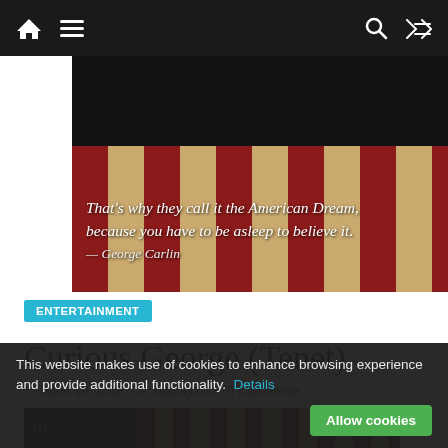Navigation bar with home, menu, search, and shuffle icons
[Figure (photo): American flag background with vintage parchment and red stripes, George Carlin quote: 'That's why they call it the American Dream, because you have to be asleep to believe it.' — George Carlin]
ENTERTAINMENT
Curious George (Tenet)
June 19, 2018  bounty100  0 Comments
[Figure (screenshot): Partial thumbnail of same American flag image at bottom of page]
This website makes use of cookies to enhance browsing experience and provide additional functionality. Details
Allow cookies